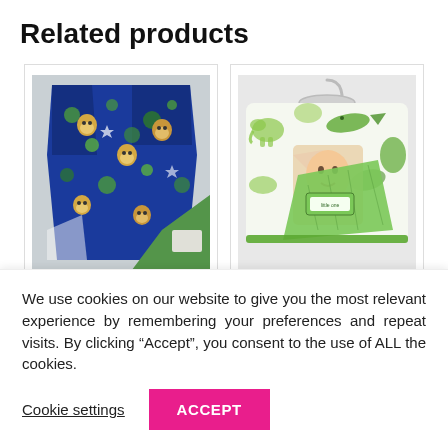Related products
[Figure (photo): Blue fleece baby blanket with colorful cartoon animal pattern (monkey faces, circles), folded partially, showing green sherpa backing.]
Luxury Mink
[Figure (photo): White baby blanket with green crocodile/elephant/animal print and green sherpa backing, folded and packaged on a hanger with a 'little one' brand tag.]
Luxury Mink
We use cookies on our website to give you the most relevant experience by remembering your preferences and repeat visits. By clicking “Accept”, you consent to the use of ALL the cookies.
Cookie settings
ACCEPT